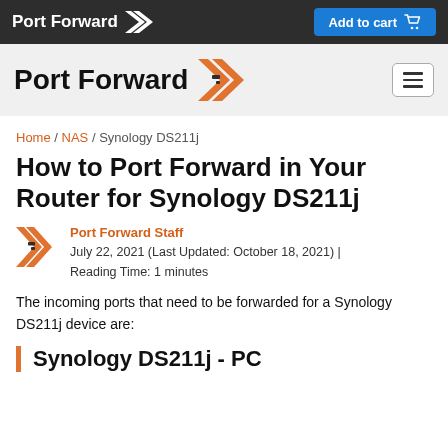Port Forward | Add to cart
[Figure (logo): Port Forward logo with chevron icon in header area]
Home / NAS / Synology DS211j
How to Port Forward in Your Router for Synology DS211j
Port Forward Staff
July 22, 2021 (Last Updated: October 18, 2021) | Reading Time: 1 minutes
The incoming ports that need to be forwarded for a Synology DS211j device are:
Synology DS211j - PC